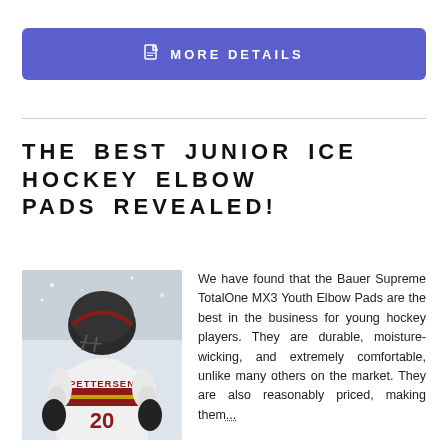MORE DETAILS
THE BEST JUNIOR ICE HOCKEY ELBOW PADS REVEALED!
[Figure (photo): Hockey player wearing jersey number 20 with name PETTERSEN, viewed from behind, in white uniform with maroon/gold accents]
We have found that the Bauer Supreme TotalOne MX3 Youth Elbow Pads are the best in the business for young hockey players. They are durable, moisture-wicking, and extremely comfortable, unlike many others on the market. They are also reasonably priced, making them...